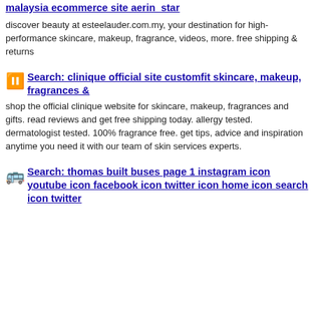malaysia ecommerce site aerin_star
discover beauty at esteelauder.com.my, your destination for high-performance skincare, makeup, fragrance, videos, more. free shipping & returns
Search: clinique official site customfit skincare, makeup, fragrances &
shop the official clinique website for skincare, makeup, fragrances and gifts. read reviews and get free shipping today. allergy tested. dermatologist tested. 100% fragrance free. get tips, advice and inspiration anytime you need it with our team of skin services experts.
Search: thomas built buses page 1 instagram icon youtube icon facebook icon twitter icon home icon search icon twitter